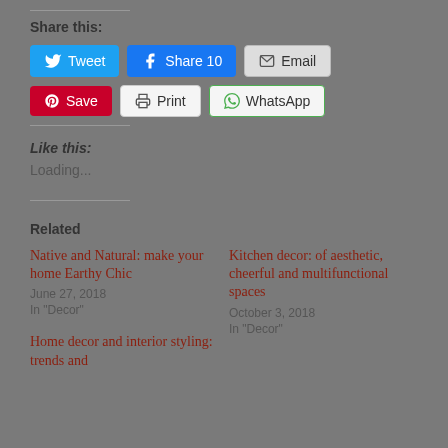Share this:
[Figure (screenshot): Social share buttons: Tweet (Twitter, blue), Share 10 (Facebook, blue), Email (grey), Save (Pinterest, red), Print (grey), WhatsApp (grey/green border)]
Like this:
Loading...
Related
Native and Natural: make your home Earthy Chic
June 27, 2018
In "Decor"
Kitchen decor: of aesthetic, cheerful and multifunctional spaces
October 3, 2018
In "Decor"
Home decor and interior styling: trends and